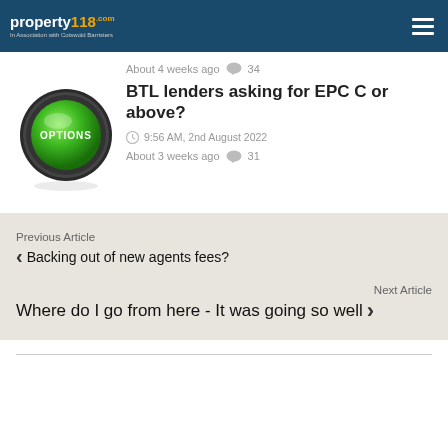property118.com - In Association with Cotswold Barristers
About 4 weeks ago  34
[Figure (illustration): Green OPTIONS button with metallic ring on white/grey background]
BTL lenders asking for EPC C or above?
9:56 AM, 2nd August 2022
About 3 weeks ago  31
Previous Article
< Backing out of new agents fees?
Next Article
Where do I go from here - It was going so well >